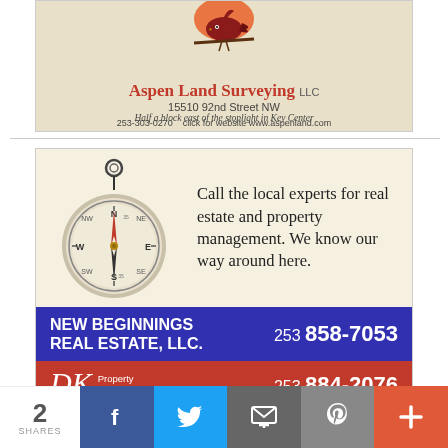[Figure (illustration): Aspen Land Surveying LLC advertisement with bird logo, address 15510 92nd Street NW, tagline 'Half a block east of the stoplight in Key Center', phone 253-303-0270, website www.aspenland.com]
[Figure (illustration): New Beginnings Real Estate and DK Property Management advertisement featuring a compass image, text 'Call the local experts for real estate and property management. We know our way around here.', blue bar with NEW BEGINNINGS REAL ESTATE, LLC. 253 858-7053, red bar with DK Property Management, LLC. 253 884-2076]
[Figure (infographic): Social share bar at bottom: 2 SHARES, Facebook, Twitter, Email, Pinterest, Plus buttons]